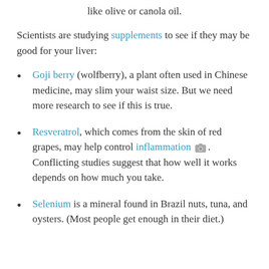like olive or canola oil.
Scientists are studying supplements to see if they may be good for your liver:
Goji berry (wolfberry), a plant often used in Chinese medicine, may slim your waist size. But we need more research to see if this is true.
Resveratrol, which comes from the skin of red grapes, may help control inflammation. Conflicting studies suggest that how well it works depends on how much you take.
Selenium is a mineral found in Brazil nuts, tuna, and oysters. (Most people get enough in their diet.)